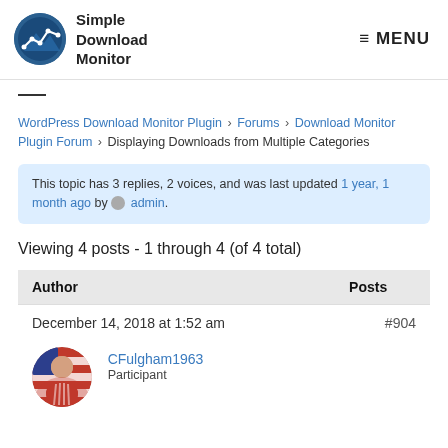Simple Download Monitor  ≡ MENU
—
WordPress Download Monitor Plugin › Forums › Download Monitor Plugin Forum › Displaying Downloads from Multiple Categories
This topic has 3 replies, 2 voices, and was last updated 1 year, 1 month ago by admin.
Viewing 4 posts - 1 through 4 (of 4 total)
| Author | Posts |
| --- | --- |
| December 14, 2018 at 1:52 am | #904 |
| CFulgham1963 Participant |  |
[Figure (photo): Avatar of CFulgham1963 - person in red striped shirt with US flag background]